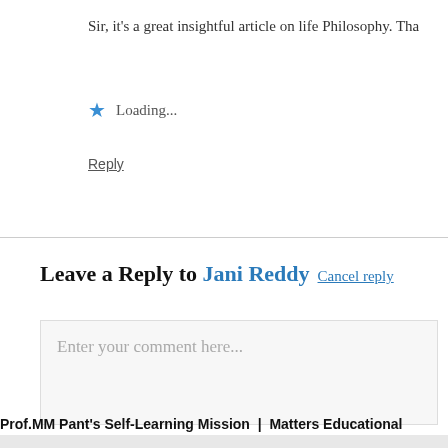Sir, it’s a great insightful article on life Philosophy. Tha…
★ Loading…
Reply
Leave a Reply to Jani Reddy Cancel reply
Enter your comment here…
Prof.MM Pant’s Self-Learning Mission | Matters Educational